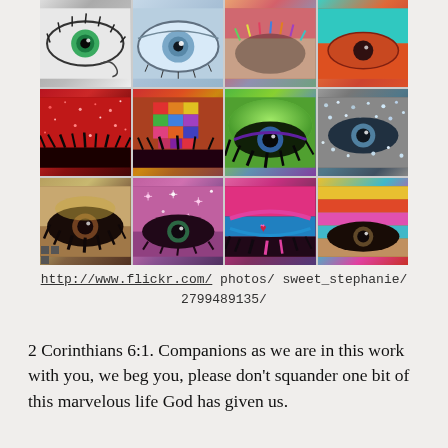[Figure (photo): A 4x3 collage of 12 close-up eye photographs showing various colorful and artistic eye makeup looks, including glitter, gems, rainbow colors, and dramatic lashes.]
http://www.flickr.com/ photos/ sweet_stephanie/ 2799489135/
2 Corinthians 6:1. Companions as we are in this work with you, we beg you, please don't squander one bit of this marvelous life God has given us.